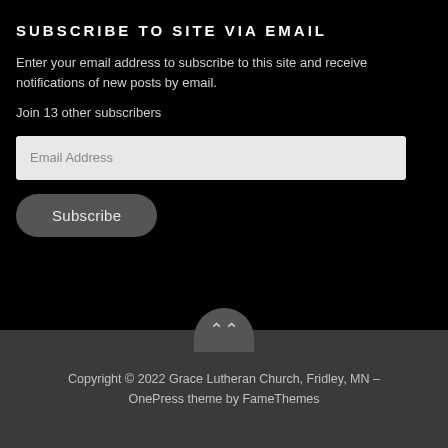SUBSCRIBE TO SITE VIA EMAIL
Enter your email address to subscribe to this site and receive notifications of new posts by email.
Join 13 other subscribers
Copyright © 2022 Grace Lutheran Church, Fridley, MN – OnePress theme by FameThemes